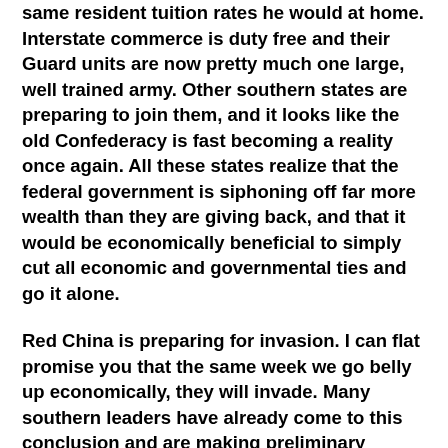same resident tuition rates he would at home. Interstate commerce is duty free and their Guard units are now pretty much one large, well trained army. Other southern states are preparing to join them, and it looks like the old Confederacy is fast becoming a reality once again. All these states realize that the federal government is siphoning off far more wealth than they are giving back, and that it would be economically beneficial to simply cut all economic and governmental ties and go it alone.
Red China is preparing for invasion. I can flat promise you that the same week we go belly up economically, they will invade. Many southern leaders have already come to this conclusion and are making preliminary overtures to the military in the event of a need to "commandeer" the nuclear assets in their states. Personally I think it's the only way the south will survive an